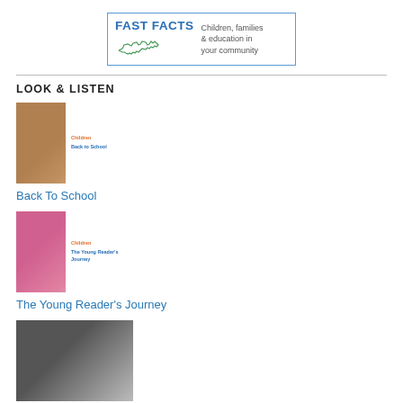[Figure (logo): Fast Facts logo with Massachusetts state outline and text 'Children, families & education in your community']
LOOK & LISTEN
[Figure (photo): Photo of a student in graduation cap and gown smiling, with a Children Back to School magazine cover overlay]
Back To School
[Figure (photo): Photo of a young child reading, with a Children The Young Reader's Journey magazine cover overlay]
The Young Reader's Journey
[Figure (photo): Partial photo showing a building or structure, partially cut off at bottom of page]